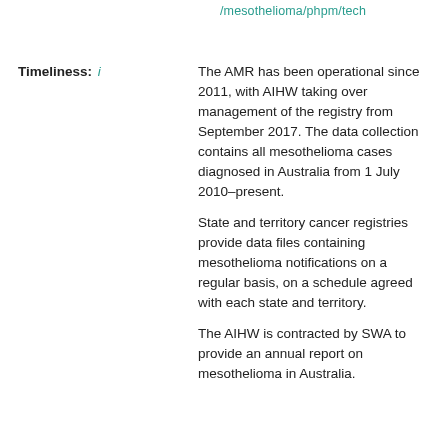/mesothelioma/phpm/tech
Timeliness: i
The AMR has been operational since 2011, with AIHW taking over management of the registry from September 2017. The data collection contains all mesothelioma cases diagnosed in Australia from 1 July 2010–present.

State and territory cancer registries provide data files containing mesothelioma notifications on a regular basis, on a schedule agreed with each state and territory.

The AIHW is contracted by SWA to provide an annual report on mesothelioma in Australia.